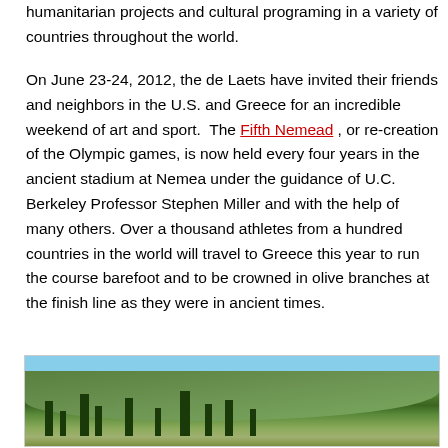humanitarian projects and cultural programing in a variety of countries throughout the world.
On June 23-24, 2012, the de Laets have invited their friends and neighbors in the U.S. and Greece for an incredible weekend of art and sport.  The Fifth Nemead , or re-creation of the Olympic games, is now held every four years in the ancient stadium at Nemea under the guidance of U.C. Berkeley Professor Stephen Miller and with the help of many others. Over a thousand athletes from a hundred countries in the world will travel to Greece this year to run the course barefoot and to be crowned in olive branches at the finish line as they were in ancient times.
[Figure (photo): Landscape photo showing a hillside with trees and vegetation, likely Nemea Greece, with blue sky at top]